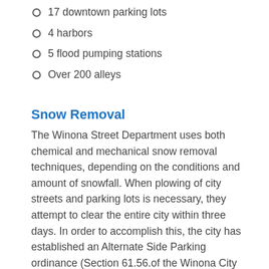17 downtown parking lots
4 harbors
5 flood pumping stations
Over 200 alleys
Snow Removal
The Winona Street Department uses both chemical and mechanical snow removal techniques, depending on the conditions and amount of snowfall. When plowing of city streets and parking lots is necessary, they attempt to clear the entire city within three days. In order to accomplish this, the city has established an Alternate Side Parking ordinance (Section 61.56.of the Winona City Code.) The City of Winona does not remove snow from alleys.
Alternate Side Parking
From November 15th to March 15th, between the hours of 12:01 am and 6:30 am, vehicles may only be